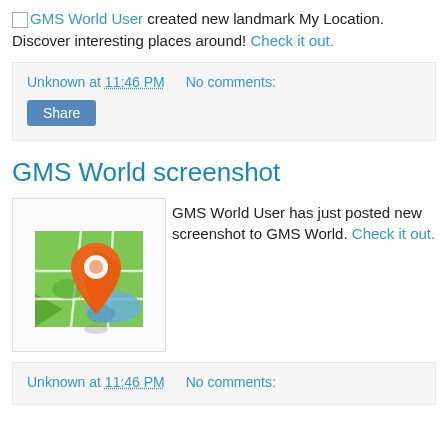GMS World User created new landmark My Location. Discover interesting places around! Check it out.
Unknown at 11:46 PM   No comments:
GMS World screenshot
[Figure (illustration): Map icon with green folded map and orange location pin marker]
GMS World User has just posted new screenshot to GMS World. Check it out.
Unknown at 11:46 PM   No comments: